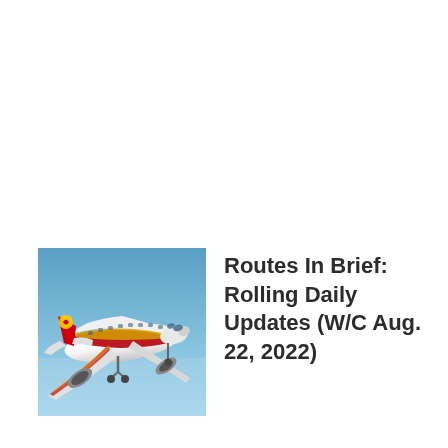[Figure (photo): A red and gold commercial airplane (Chinese airline livery) in flight against a blue sky, viewed from below-front, with landing gear extended.]
Routes In Brief: Rolling Daily Updates (W/C Aug. 22, 2022)